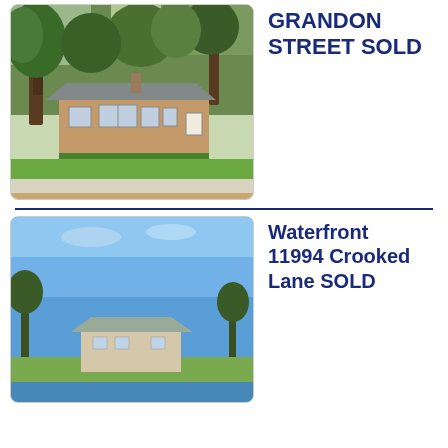[Figure (photo): Exterior photo of a brick ranch-style house with large trees in front, green lawn, and sidewalk in foreground]
GRANDON STREET SOLD
[Figure (photo): Exterior photo of a waterfront property with blue sky, showing a house near water with trees]
Waterfront 11994 Crooked Lane SOLD